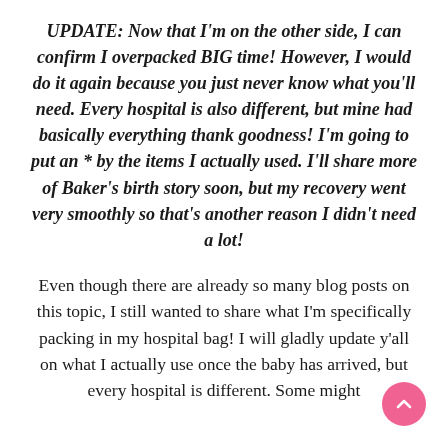UPDATE: Now that I'm on the other side, I can confirm I overpacked BIG time! However, I would do it again because you just never know what you'll need. Every hospital is also different, but mine had basically everything thank goodness! I'm going to put an * by the items I actually used. I'll share more of Baker's birth story soon, but my recovery went very smoothly so that's another reason I didn't need a lot!
Even though there are already so many blog posts on this topic, I still wanted to share what I'm specifically packing in my hospital bag! I will gladly update y'all on what I actually use once the baby has arrived, but every hospital is different. Some might